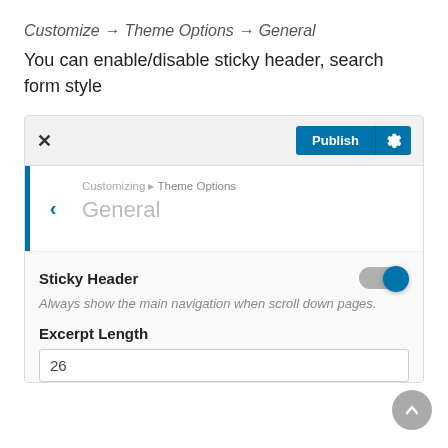Customize → Theme Options → General
You can enable/disable sticky header, search form style
[Figure (screenshot): WordPress Customizer UI screenshot showing a panel with Publish button, back navigation to 'Customizing ▸ Theme Options > General', a Sticky Header toggle (enabled/blue), description text 'Always show the main navigation when scroll down pages.', an Excerpt Length field with value 26, and a scroll-to-top button.]